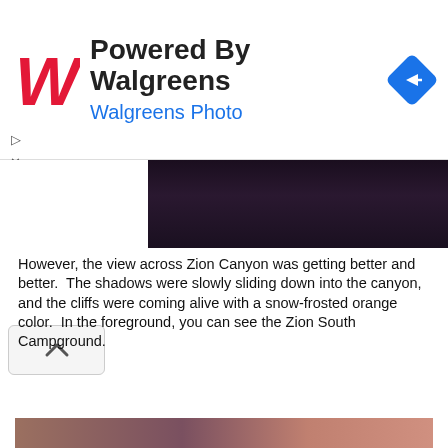[Figure (screenshot): Walgreens Photo advertisement banner with red W logo, 'Powered By Walgreens' title, 'Walgreens Photo' subtitle in blue, and a blue diamond navigation icon on the right. Small play and close control icons on the left.]
[Figure (photo): Dark rocky canyon top image strip, partially visible]
However, the view across Zion Canyon was getting better and better.  The shadows were slowly sliding down into the canyon, and the cliffs were coming alive with a snow-frosted orange color.  In the foreground, you can see the Zion South Campground.
Privacy & Cookies: This site uses cookies. By continuing to use this website, you agree to their use.
To find out more, including how to control cookies, see here: Cookie Policy
Close and accept
[Figure (photo): Bottom partial image strip showing rocky terrain]